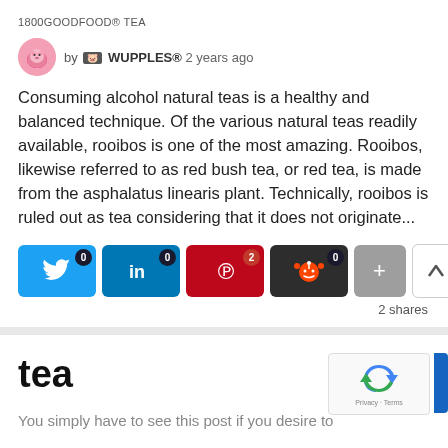1800GOODFOOD® TEA
by 🐷 WUPPLES® 2 years ago
Consuming alcohol natural teas is a healthy and balanced technique. Of the various natural teas readily available, rooibos is one of the most amazing. Rooibos, likewise referred to as red bush tea, or red tea, is made from the asphalatus linearis plant. Technically, rooibos is ruled out as tea considering that it does not originate...
[Figure (infographic): Social share buttons: Twitter (0), LinkedIn (0), Pinterest (2), Reddit (0), More (+), Up arrow, Down arrow. Shows 2 shares total.]
tea
You simply have to see this post if you desire to